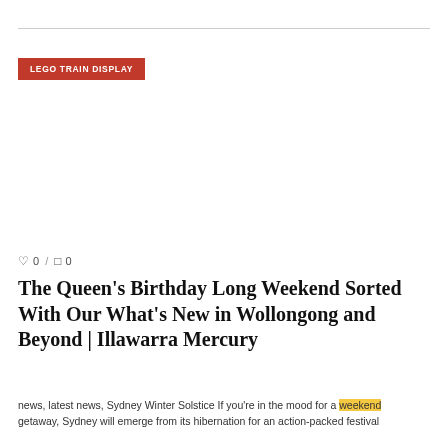LEGO TRAIN DISPLAY
0  /  0
The Queen's Birthday Long Weekend Sorted With Our What's New in Wollongong and Beyond | Illawarra Mercury
news, latest news, Sydney Winter Solstice If you're in the mood for a weekend getaway, Sydney will emerge from its hibernation for an action-packed festival